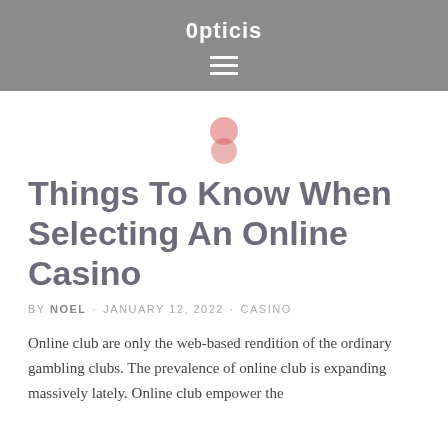0pticis
Things To Know When Selecting An Online Casino
BY NOEL · JANUARY 12, 2022 · CASINO
Online club are only the web-based rendition of the ordinary gambling clubs. The prevalence of online club is expanding massively lately. Online club empower the